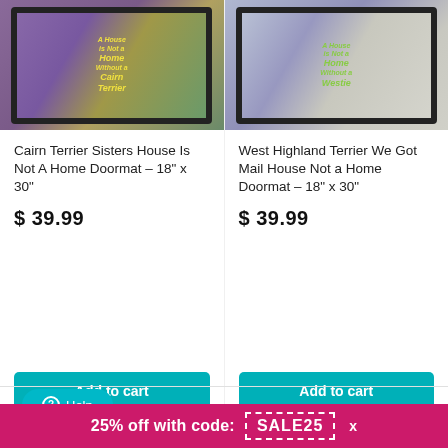[Figure (photo): Cairn Terrier Sisters doormat photo in black frame showing purple mat with dogs and 'A House is Not a Home Without a Cairn Terrier' text]
Cairn Terrier Sisters House Is Not A Home Doormat – 18" x 30"
$ 39.99
Add to cart
[Figure (photo): West Highland Terrier doormat photo in black frame showing lavender mat with westie and 'A House is Not a Home Without a Westie' text]
West Highland Terrier We Got Mail House Not a Home Doormat – 18" x 30"
$ 39.99
Add to cart
⊙ Help
25% off with code: SALE25 x